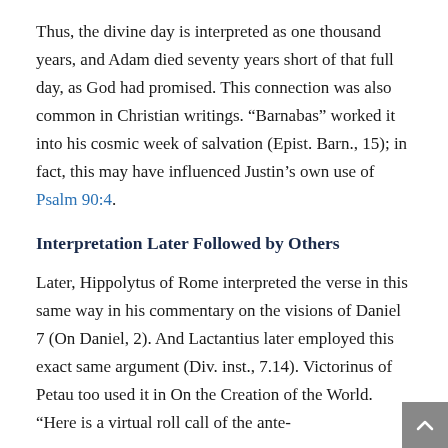Thus, the divine day is interpreted as one thousand years, and Adam died seventy years short of that full day, as God had promised. This connection was also common in Christian writings. “Barnabas” worked it into his cosmic week of salvation (Epist. Barn., 15); in fact, this may have influenced Justin’s own use of Psalm 90:4.
Interpretation Later Followed by Others
Later, Hippolytus of Rome interpreted the verse in this same way in his commentary on the visions of Daniel 7 (On Daniel, 2). And Lactantius later employed this exact same argument (Div. inst., 7.14). Victorinus of Petau too used it in On the Creation of the World. “Here is a virtual roll call of the ante-